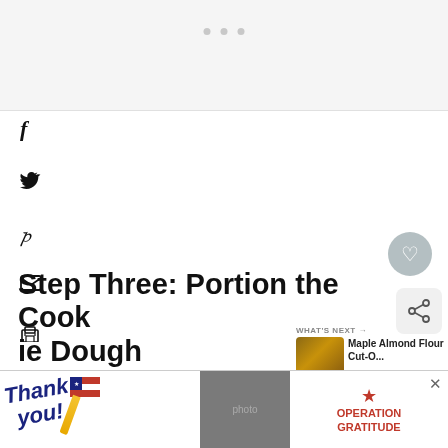[Figure (screenshot): Top gray banner area with three gray dots, resembling an ad placeholder or loading area]
[Figure (infographic): Social media sharing icons on the left side: Facebook (f), Twitter (bird), Pinterest (p), email (envelope), print (printer)]
[Figure (screenshot): Heart/save button (gray circle with white heart) and share button on right side]
Step Three: Portion the Cookie Dough
[Figure (photo): WHAT'S NEXT thumbnail showing Maple Almond Flour Cut-O... (cookies)]
Portion the dough into 12 equal scoops or ba...sweet.
[Figure (screenshot): Advertisement banner: Thank you (with American flag design) / Operation Gratitude ad with close button]